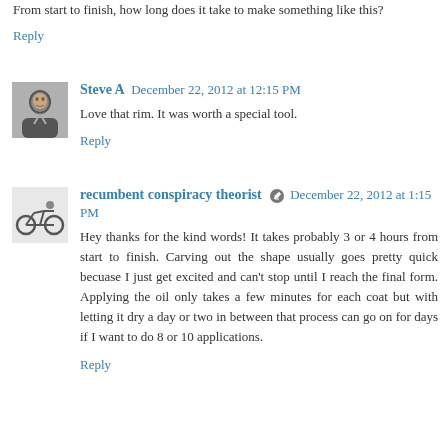From start to finish, how long does it take to make something like this?
Reply
Steve A  December 22, 2012 at 12:15 PM
Love that rim. It was worth a special tool.
Reply
recumbent conspiracy theorist  December 22, 2012 at 1:15 PM
Hey thanks for the kind words! It takes probably 3 or 4 hours from start to finish. Carving out the shape usually goes pretty quick becuase I just get excited and can't stop until I reach the final form. Applying the oil only takes a few minutes for each coat but with letting it dry a day or two in between that process can go on for days if I want to do 8 or 10 applications.
Reply